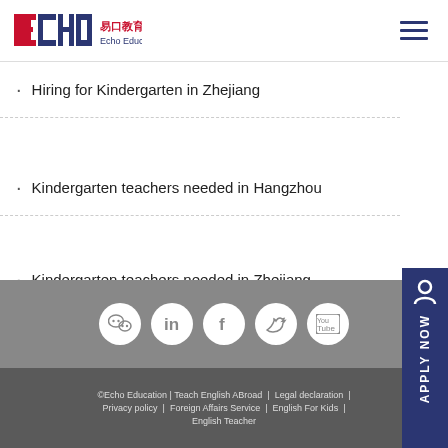[Figure (logo): Echo Education logo with red/blue ECHO text, Chinese characters 易口教育, and tagline Echo Education]
Hiring for Kindergarten in Zhejiang
Kindergarten teachers needed in Hangzhou
Kindergarten teachers needed in Zhejiang
[Figure (infographic): Apply Now vertical sidebar button with person icon]
[Figure (infographic): Social media icons row: WeChat, LinkedIn, Facebook, Twitter, YouTube on gray background]
©Echo Education | Teach English ABroad | Legal declaration | Privacy policy | Foreign Affairs Service | English For Kids | English Teacher